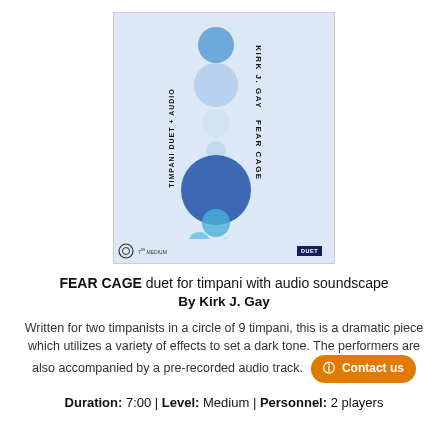[Figure (illustration): Book cover for 'Fear Cage' timpani duet by Kirk J. Gay, featuring decorative blue circles of various sizes on a light blue background, with vertical text on spine reading 'TIMPANI DUET + AUDIO' and 'Kirk J. GAY FEAR CAGE', and a small DUET badge at the bottom.]
FEAR CAGE duet for timpani with audio soundscape By Kirk J. Gay
Written for two timpanists in a circle of 9 timpani, this is a dramatic piece which utilizes a variety of effects to set a dark tone. The performers are also accompanied by a pre-recorded audio track.
Duration: 7:00 | Level: Medium | Personnel: 2 players